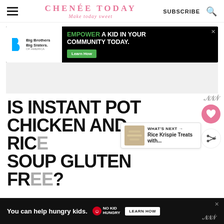CHENÉE TODAY — Make today sweet
[Figure (infographic): Big Brothers Big Sisters advertisement banner: 'EMPOWER A KID IN YOUR COMMUNITY TODAY.' with Learn How button]
[Figure (screenshot): Social share sidebar with wm icon, heart button, and share button]
IS INSTANT POT CHICKEN AND RICE SOUP GLUTEN FREE?
[Figure (infographic): What's Next widget: Rice Krispie Treats with...]
[Figure (infographic): Bottom ad banner: 'You can help hungry kids.' No Kid Hungry LEARN HOW]